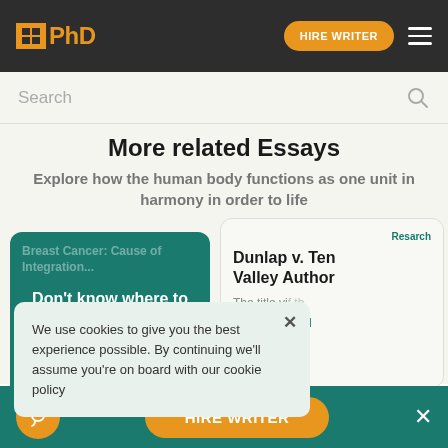PhD | HIRE WRITER
Search
More related Essays
Explore how the human body functions as one unit in harmony in order to life
[Figure (screenshot): Teal card with essay prompt about sample]
[Figure (screenshot): White card showing Dunlap v. Tennessee Valley Authority case]
We use cookies to give you the best experience possible. By continuing we'll assume you're on board with our cookie policy
HIRE WRITER